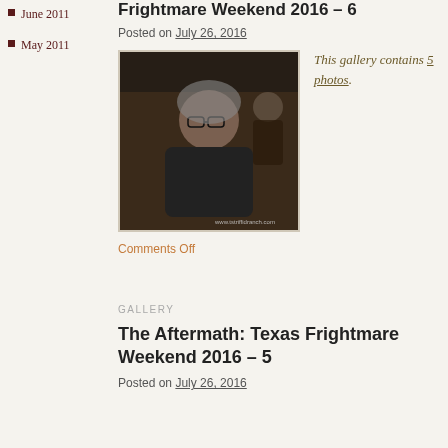June 2011
May 2011
Frightmare Weekend 2016 – 6
Posted on July 26, 2016
[Figure (photo): Photo of a woman with gray hair and glasses, smiling, wearing a black t-shirt, holding something. Another person visible in background. Watermark: www.tstriffidranch.com]
This gallery contains 5 photos.
Comments Off
GALLERY
The Aftermath: Texas Frightmare Weekend 2016 – 5
Posted on July 26, 2016